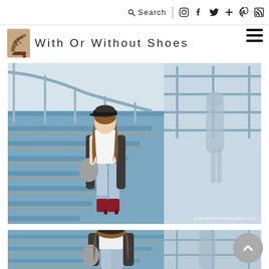Search | [social icons] | [menu]
With Or Without Shoes
[Figure (photo): Woman in jeans, white top, dark coat, red ankle boots and baker boy cap standing on blue metal staircase, holding grey bag, with shadow on wall behind]
[Figure (photo): Same woman seen from behind walking up the blue metal staircase, wearing baker boy cap, white top, jeans and dark coat]